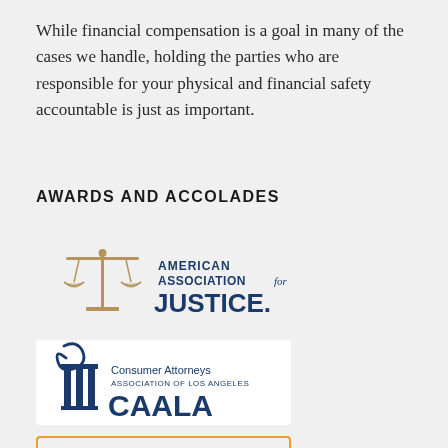While financial compensation is a goal in many of the cases we handle, holding the parties who are responsible for your physical and financial safety accountable is just as important.
AWARDS AND ACCOLADES
[Figure (logo): American Association for Justice logo with scales of justice icon and text]
[Figure (logo): Consumer Attorneys Association of Los Angeles (CAALA) logo with column icon]
[Figure (logo): Rated by Super Lawyers badge with orange border]